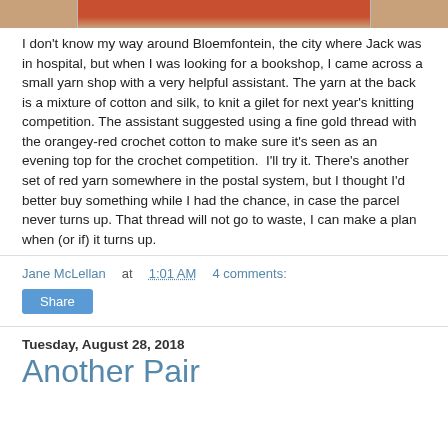[Figure (photo): Bottom edge of a photo showing red/orange yarn or crochet item on a wooden surface background]
I don't know my way around Bloemfontein, the city where Jack was in hospital, but when I was looking for a bookshop, I came across a small yarn shop with a very helpful assistant. The yarn at the back is a mixture of cotton and silk, to knit a gilet for next year's knitting competition. The assistant suggested using a fine gold thread with the orangey-red crochet cotton to make sure it's seen as an evening top for the crochet competition.  I'll try it. There's another set of red yarn somewhere in the postal system, but I thought I'd better buy something while I had the chance, in case the parcel never turns up. That thread will not go to waste, I can make a plan when (or if) it turns up.
Jane McLellan at 1:01 AM   4 comments:
Share
Tuesday, August 28, 2018
Another Pair